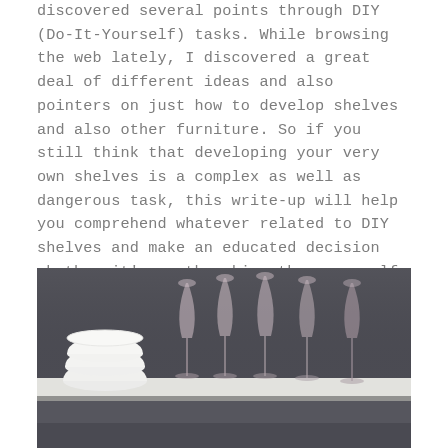discovered several points through DIY (Do-It-Yourself) tasks. While browsing the web lately, I discovered a great deal of different ideas and also pointers on just how to develop shelves and also other furniture. So if you still think that developing your very own shelves is a complex as well as dangerous task, this write-up will help you comprehend whatever related to DIY shelves and make an educated decision whether it's worth making them yourself or otherwise.
[Figure (photo): A white floating shelf mounted on a gray wall, holding a stack of white ceramic bowls on the left and several clear wine/champagne glasses to the right.]